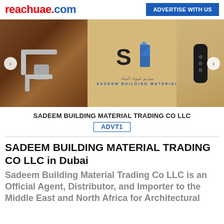reachuae.com | ADVERTISE WITH US
[Figure (photo): Banner slideshow showing door hardware including handle, Sadeem Building Material logo on wooden background, and smart door lock]
SADEEM BUILDING MATERIAL TRADING CO LLC
ADVT1
SADEEM BUILDING MATERIAL TRADING CO LLC in Dubai
Sadeem Building Material Trading Co LLC is an Official Agent, Distributor, and Importer to the Middle East and North Africa for Architectural